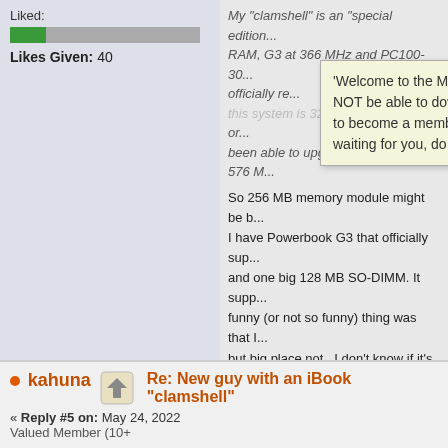Liked:
[Figure (other): Progress bar showing likes, green filled portion on left, grey remainder]
Likes Given: 40
'Welcome to the Mac OS 9 Lives! Forum You will NOT be able to download our files until you register to become a member. We have tons of FREE stuff waiting for you, do give it a try.'
My "clamshell" is an "special edition... RAM, G3 at 366 MHz and PC100-30... officially re... this system is 320 MB with 64 MB of or... been able to upgrade the RAM to 576 M...
So 256 MB memory module might be b... I have Powerbook G3 that officially sup... and one big 128 MB SO-DIMM. It supp... funny (or not so funny) thing was that I... but big place not...I don't know if it's pr... that particular Mac.
Anyway with MacOS9 even 128 MB me...
I bought my first new Mac when OS X 10.1 re... too. And I bought my first 68k Mac when Apple...
kahuna
Re: New guy with an iBook "clamshell"
« Reply #5 on: May 24, 2022
Valued Member (10+